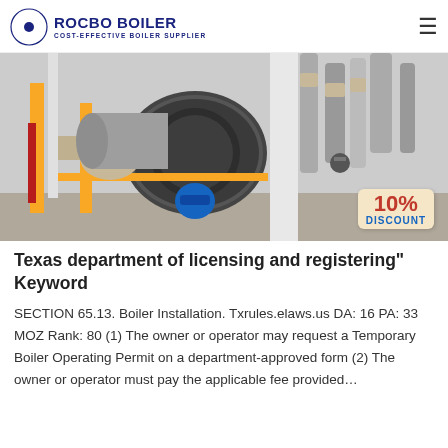[Figure (logo): Rocbo Boiler logo with circular blue crescent icon and text 'ROCBO BOILER / COST-EFFECTIVE BOILER SUPPLIER']
[Figure (photo): Industrial boiler room with large horizontal boilers, yellow structural supports, silver insulated pipes, and a '10% DISCOUNT' badge in the bottom right corner.]
Texas department of licensing and registering" Keyword
SECTION 65.13. Boiler Installation. Txrules.elaws.us DA: 16 PA: 33 MOZ Rank: 80 (1) The owner or operator may request a Temporary Boiler Operating Permit on a department-approved form (2) The owner or operator must pay the applicable fee provided…